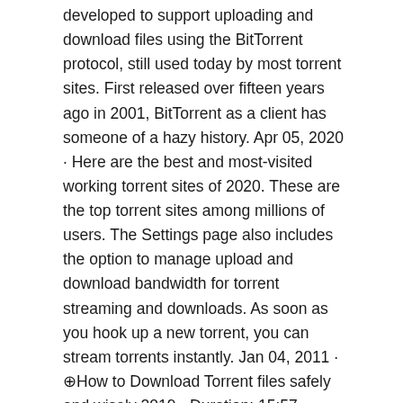developed to support uploading and download files using the BitTorrent protocol, still used today by most torrent sites. First released over fifteen years ago in 2001, BitTorrent as a client has someone of a hazy history. Apr 05, 2020 · Here are the best and most-visited working torrent sites of 2020. These are the top torrent sites among millions of users. The Settings page also includes the option to manage upload and download bandwidth for torrent streaming and downloads. As soon as you hook up a new torrent, you can stream torrents instantly. Jan 04, 2011 · ⊕How to Download Torrent files safely and wisely 2019 - Duration: 15:57. Delanoose 485,336 views. 15:57 [Tutorial] - How to use Torrents (Beginners) - Duration: 8:34. Download the official µTorrent® (uTorrent) torrent client for Windows, Mac, Android or Linux-- uTorrent is the #1 bittorrent download client on desktops worldwide.
May 25, 2019 · To paste the magnet link of the selected file into + Torrent,